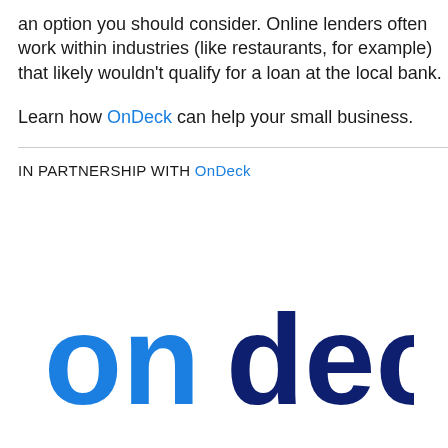an option you should consider. Online lenders often work within industries (like restaurants, for example) that likely wouldn't qualify for a loan at the local bank.
Learn how OnDeck can help your small business.
IN PARTNERSHIP WITH OnDeck
[Figure (logo): OnDeck logo in large blue and dark navy text reading 'ondeck']